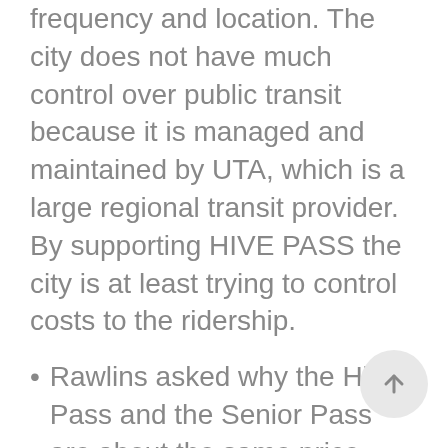frequency and location.  The city does not have much control over public transit because it is managed and maintained by UTA, which is a large regional transit provider.  By supporting HIVE PASS the city is at least trying to control costs to the ridership.
Rawlins asked why the Hive Pass and the Senior Pass are about the same price.
Charlie said that they are trying to lower the cost to people who don't qualify for a Senior Pass.
The 21st and 21st small business plan will be addressed starting in May.  This is about a month later than they had hoped.  The plan will include everything to 23rd East.  Lisa and